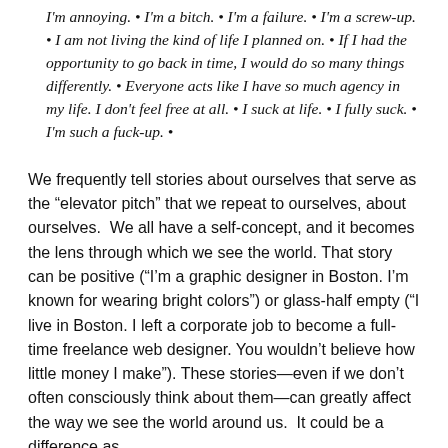I'm annoying. • I'm a bitch. • I'm a failure. • I'm a screw-up. • I am not living the kind of life I planned on. • If I had the opportunity to go back in time, I would do so many things differently. • Everyone acts like I have so much agency in my life. I don't feel free at all. • I suck at life. • I fully suck. • I'm such a fuck-up. •
We frequently tell stories about ourselves that serve as the "elevator pitch" that we repeat to ourselves, about ourselves. We all have a self-concept, and it becomes the lens through which we see the world. That story can be positive ("I'm a graphic designer in Boston. I'm known for wearing bright colors") or glass-half empty ("I live in Boston. I left a corporate job to become a full-time freelance web designer. You wouldn't believe how little money I make"). These stories—even if we don't often consciously think about them—can greatly affect the way we see the world around us. It could be a difference as